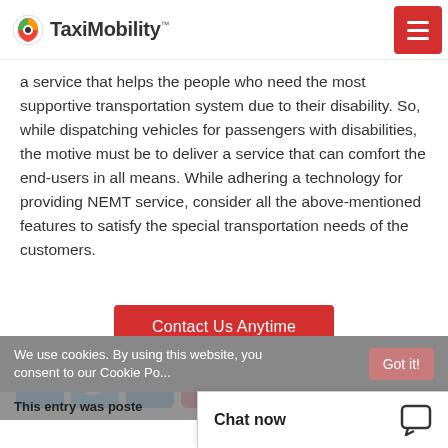TaxiMobility
a service that helps the people who need the most supportive transportation system due to their disability. So, while dispatching vehicles for passengers with disabilities, the motive must be to deliver a service that can comfort the end-users in all means. While adhering a technology for providing NEMT service, consider all the above-mentioned features to satisfy the special transportation needs of the customers.
Contact Us Anytime
[Figure (infographic): Social media share icons: Facebook (blue), Twitter (light blue), LinkedIn (blue), Pinterest (red)]
We use cookies. By using this website, you consent to our Cookie Po...
This entry was poste...
Chat now